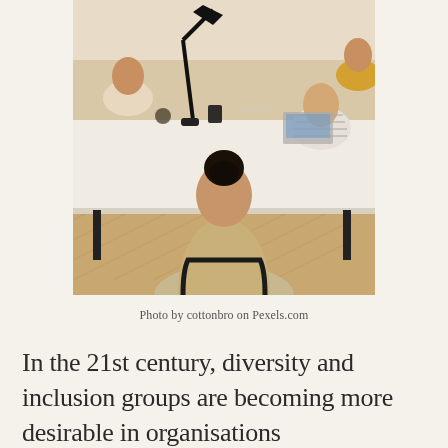[Figure (photo): Office meeting scene viewed from behind a person with dark hair in a bun, wearing a beige blazer, seated at a long white table. Other colleagues are visible around the table with laptops and office items. Warm wooden herringbone floor visible.]
Photo by cottonbro on Pexels.com
In the 21st century, diversity and inclusion groups are becoming more desirable in organisations